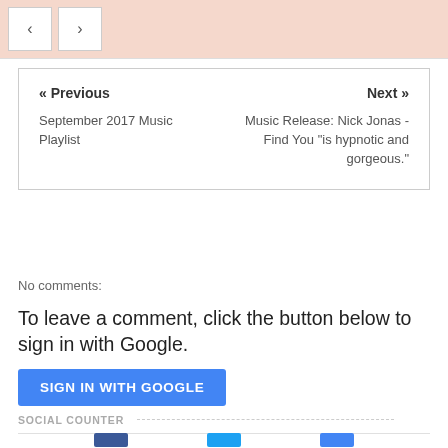[Figure (screenshot): Top image bar with navigation arrows (< >) and a peach/rose-colored background image]
« Previous
September 2017 Music Playlist
Next »
Music Release: Nick Jonas - Find You "is hypnotic and gorgeous."
No comments:
To leave a comment, click the button below to sign in with Google.
SIGN IN WITH GOOGLE
SOCIAL COUNTER